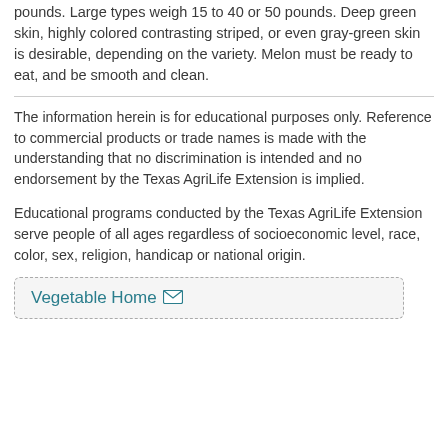pounds. Large types weigh 15 to 40 or 50 pounds. Deep green skin, highly colored contrasting striped, or even gray-green skin is desirable, depending on the variety. Melon must be ready to eat, and be smooth and clean.
The information herein is for educational purposes only. Reference to commercial products or trade names is made with the understanding that no discrimination is intended and no endorsement by the Texas AgriLife Extension is implied.
Educational programs conducted by the Texas AgriLife Extension serve people of all ages regardless of socioeconomic level, race, color, sex, religion, handicap or national origin.
Vegetable Home